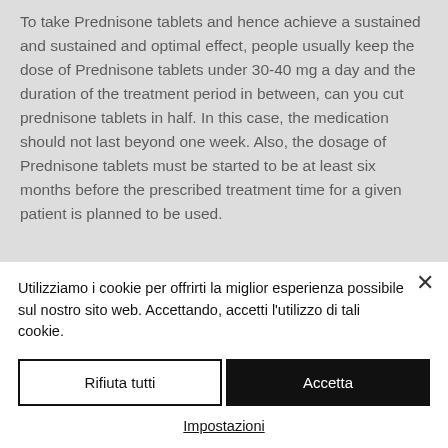To take Prednisone tablets and hence achieve a sustained and sustained and optimal effect, people usually keep the dose of Prednisone tablets under 30-40 mg a day and the duration of the treatment period in between, can you cut prednisone tablets in half. In this case, the medication should not last beyond one week. Also, the dosage of Prednisone tablets must be started to be at least six months before the prescribed treatment time for a given patient is planned to be used.
Utilizziamo i cookie per offrirti la miglior esperienza possibile sul nostro sito web. Accettando, accetti l'utilizzo di tali cookie.
Rifiuta tutti
Accetta
Impostazioni